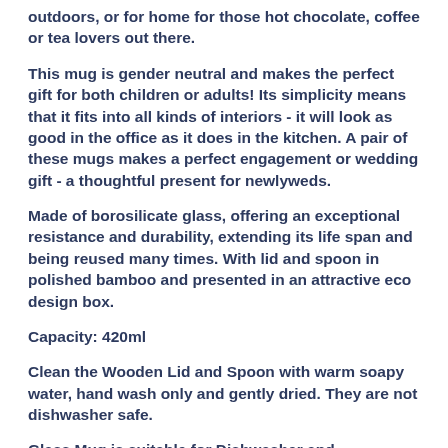outdoors, or for home for those hot chocolate, coffee or tea lovers out there.
This mug is gender neutral and makes the perfect gift for both children or adults! Its simplicity means that it fits into all kinds of interiors - it will look as good in the office as it does in the kitchen. A pair of these mugs makes a perfect engagement or wedding gift - a thoughtful present for newlyweds.
Made of borosilicate glass, offering an exceptional resistance and durability, extending its life span and being reused many times. With lid and spoon in polished bamboo and presented in an attractive eco design box.
Capacity: 420ml
Clean the Wooden Lid and Spoon with warm soapy water, hand wash only and gently dried. They are not dishwasher safe.
Glass Mug is suitable for Dishwasher and Microwave, the Lid and Spoon are not dishwasher safe